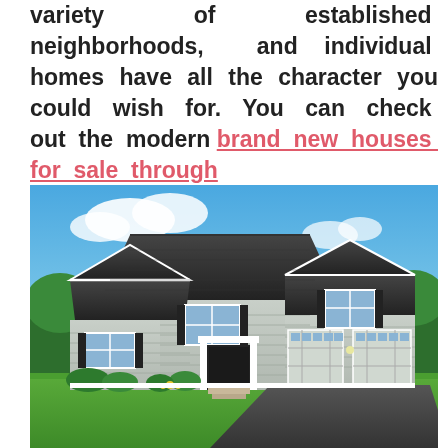variety of established neighborhoods, and individual homes have all the character you could wish for. You can check out the modern brand new houses for sale through https://thproperties.com/.
[Figure (photo): A large two-story craftsman-style new construction home with gray siding, white trim, black shutters, two-car garage, green lawn, and blue sky with clouds in the background.]